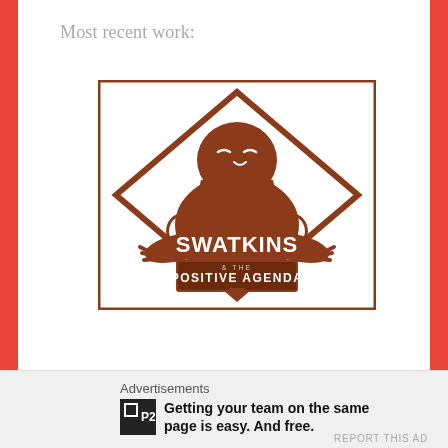Most recent work:
[Figure (logo): Swatkins & The Positive Agenda logo: illustrated bearded man playing keyboard inside a diamond shape, brown/rust color scheme on white background]
Advertisements
[Figure (logo): P2 app logo icon - dark square with P2 text]
Getting your team on the same page is easy. And free.